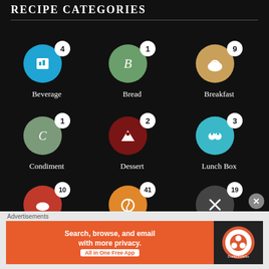RECIPE CATEGORIES
[Figure (infographic): Recipe category grid with icons and counts: Beverage (4), Bread (1), Breakfast (9), Condiment (1), Dessert (2), Lunch Box (3), Main Course (10), Side Dish (41), Snacks (19), and two partially visible categories with counts 13 and 3]
Advertisements
Search, browse, and email with more privacy. All in One Free App DuckDuckGo